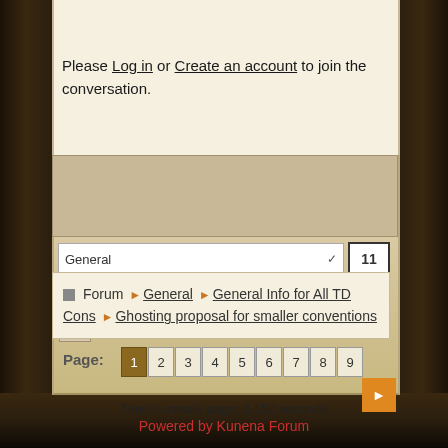Please Log in or Create an account to join the conversation.
Page: 1 2 3 4 5 6 7 8 9
General  11
Forum ▶ General ▶ General Info for All TD Cons ▶ Ghosting proposal for smaller conventions
Time to create page: 0.152 seconds
Powered by Kunena Forum